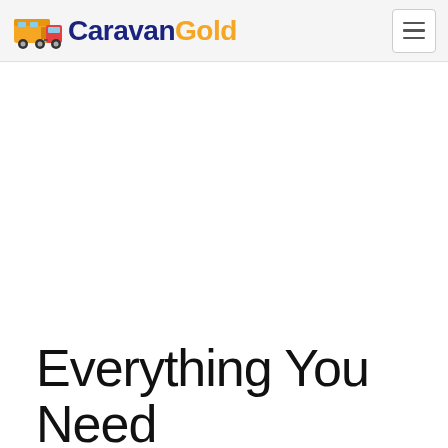CaravanGold
Everything You Need To Know About...